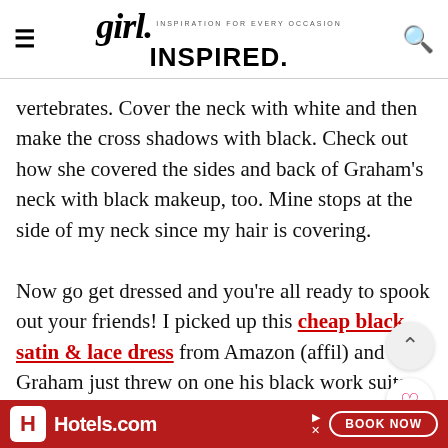girl. INSPIRED. · INSPIRATION FOR EVERY OCCASION
vertebrates. Cover the neck with white and then make the cross shadows with black. Check out how she covered the sides and back of Graham's neck with black makeup, too. Mine stops at the side of my neck since my hair is covering.

Now go get dressed and you're all ready to spook out your friends! I picked up this cheap black satin and lace dress from Amazon (affil) and Graham just threw on one his black work suits. Presto!
[Figure (other): Hotels.com advertisement banner with red background, Hotels.com logo and BOOK NOW button]